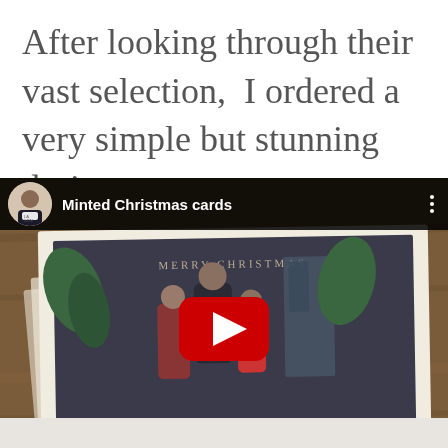After looking through their vast selection,  I ordered a very simple but stunning design.
[Figure (screenshot): YouTube video thumbnail showing a family Christmas card photo on a wooden surface, with YouTube play button overlay. The video title bar reads 'Minted Christmas cards' with a channel avatar showing a woman.]